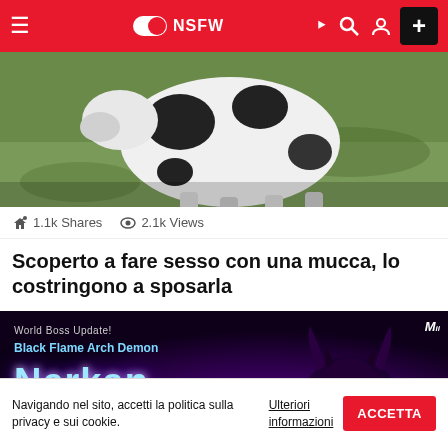≡  NSFW  ☽ 🔍 👤 +
[Figure (photo): A black and white cow lying on green grass]
1.1k Shares  2.1k Views
Scoperto a fare sesso con una mucca, lo costringono a sposarla
[Figure (screenshot): Game advertisement banner: World Boss Update! Black Flame Arch Demon Nerkan. Dark purple fantasy game artwork with demon character. News.dracia.com watermark.]
Navigando nel sito, accetti la politica sulla privacy e sui cookie.